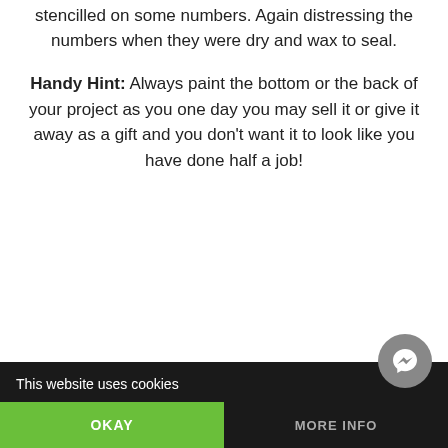stencilled on some numbers. Again distressing the numbers when they were dry and wax to seal.
Handy Hint: Always paint the bottom or the back of your project as you one day you may sell it or give it away as a gift and you don't want it to look like you have done half a job!
This website uses cookies | OKAY | MORE INFO